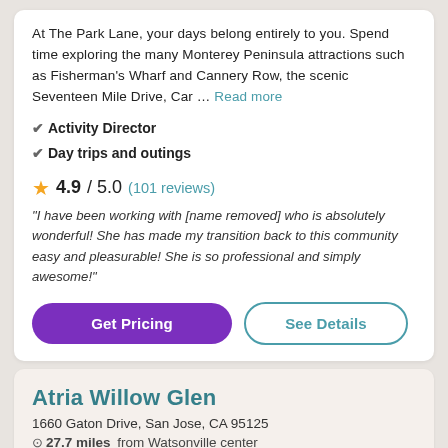At The Park Lane, your days belong entirely to you. Spend time exploring the many Monterey Peninsula attractions such as Fisherman's Wharf and Cannery Row, the scenic Seventeen Mile Drive, Car … Read more
✔ Activity Director
✔ Day trips and outings
4.9 / 5.0 (101 reviews)
"I have been working with [name removed] who is absolutely wonderful! She has made my transition back to this community easy and pleasurable! She is so professional and simply awesome!"
Get Pricing
See Details
Atria Willow Glen
1660 Gaton Drive, San Jose, CA 95125
27.7 miles from Watsonville center
Starting at $X,XXX+ monthly